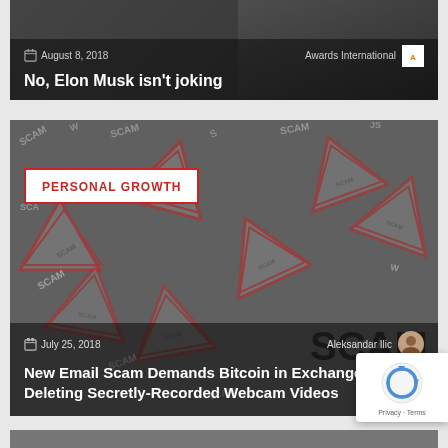[Figure (screenshot): Article card with dark background showing 'No, Elon Musk isn't joking' with date August 8, 2018 and Awards International author]
No, Elon Musk isn't joking
[Figure (screenshot): Article card with SCAM warning signs background, PERSONAL GROWTH category badge, date July 25, 2018, author Aleksandar Ilic]
New Email Scam Demands Bitcoin in Exchange for Deleting Secretly-Recorded Webcam Videos